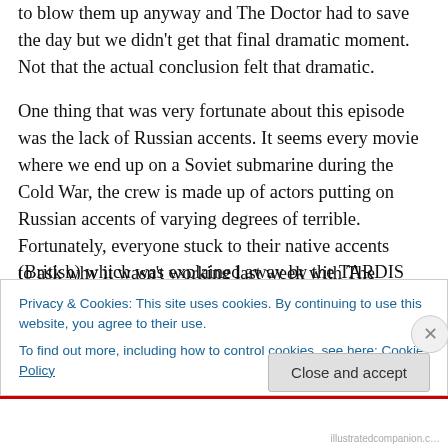to blow them up anyway and The Doctor had to save the day but we didn't get that final dramatic moment. Not that the actual conclusion felt that dramatic.
One thing that was very fortunate about this episode was the lack of Russian accents. It seems every movie where we end up on a Soviet submarine during the Cold War, the crew is made up of actors putting on Russian accents of varying degrees of terrible. Fortunately, everyone stuck to their native accents (British) which was explained away by the TARDIS Translation Matrix. Would this be a bad time to ask why it wasn't working last week with The Doctor's
Privacy & Cookies: This site uses cookies. By continuing to use this website, you agree to their use.
To find out more, including how to control cookies, see here: Cookie Policy
Close and accept